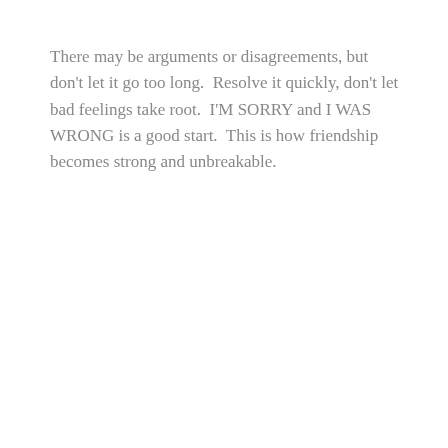There may be arguments or disagreements, but don't let it go too long.  Resolve it quickly, don't let bad feelings take root.  I'M SORRY and I WAS WRONG is a good start.  This is how friendship becomes strong and unbreakable.